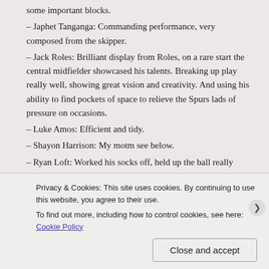some important blocks.
– Japhet Tanganga: Commanding performance, very composed from the skipper.
– Jack Roles: Brilliant display from Roles, on a rare start the central midfielder showcased his talents. Breaking up play really well, showing great vision and creativity. And using his ability to find pockets of space to relieve the Spurs lads of pressure on occasions.
– Luke Amos: Efficient and tidy.
– Shayon Harrison: My motm see below.
– Ryan Loft: Worked his socks off, held up the ball really well.
– Marcus Edwards: Lively throughout the game created a string of fine chances.
– Samuel Shashoua: Bright cameo, brought energy to the game and worked some good forward moves. Pressed relentlessly.
Privacy & Cookies: This site uses cookies. By continuing to use this website, you agree to their use. To find out more, including how to control cookies, see here: Cookie Policy